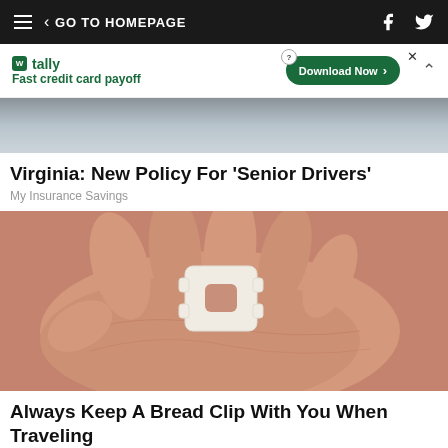GO TO HOMEPAGE
[Figure (screenshot): Tally advertisement banner: Fast credit card payoff with Download Now button]
[Figure (photo): Partial photo of food/object on plate]
Virginia: New Policy For 'Senior Drivers'
My Insurance Savings
[Figure (photo): Photo of a hand holding a small white plastic bread clip]
Always Keep A Bread Clip With You When Traveling
SoGoodly